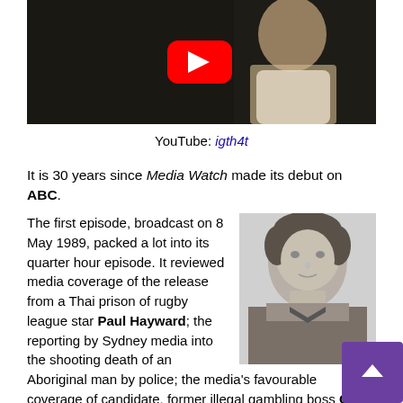[Figure (screenshot): YouTube video thumbnail showing a man in a white shirt, with a red YouTube play button overlay on a dark background]
YouTube: igth4t
It is 30 years since Media Watch made its debut on ABC.
The first episode, broadcast on 8 May 1989, packed a lot into its quarter hour episode. It reviewed media coverage of the release from a Thai prison of rugby league star Paul Hayward; the reporting by Sydney media into the shooting death of an Aboriginal man by police; the media's favourable coverage of candidate, former illegal gambling boss Gerry Bellino in an
[Figure (photo): Black and white head-and-shoulders portrait photo of a man]